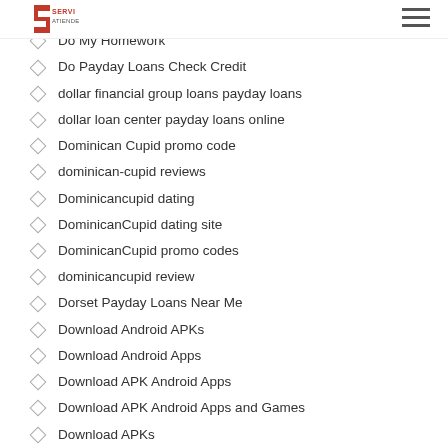ServiAtiende logo and hamburger menu
Mail Order Marriages Work
Do My Homework
Do Payday Loans Check Credit
dollar financial group loans payday loans
dollar loan center payday loans online
Dominican Cupid promo code
dominican-cupid reviews
Dominicancupid dating
DominicanCupid dating site
DominicanCupid promo codes
dominicancupid review
Dorset Payday Loans Near Me
Download Android APKs
Download Android Apps
Download APK Android Apps
Download APK Android Apps and Games
Download APKs